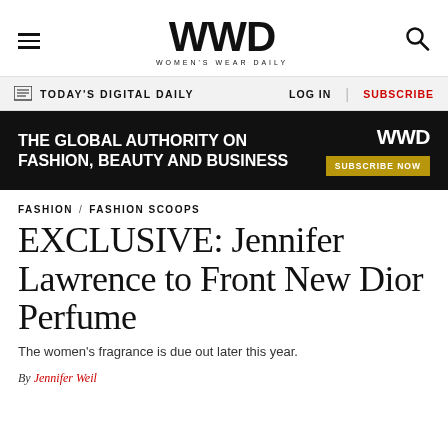WWD — WOMEN'S WEAR DAILY
[Figure (logo): WWD Women's Wear Daily logo with hamburger menu and search icon]
TODAY'S DIGITAL DAILY   LOG IN   SUBSCRIBE
[Figure (infographic): Black banner advertisement: THE GLOBAL AUTHORITY ON FASHION, BEAUTY AND BUSINESS — WWD SUBSCRIBE NOW]
FASHION / FASHION SCOOPS
EXCLUSIVE: Jennifer Lawrence to Front New Dior Perfume
The women's fragrance is due out later this year.
By JENNIFER WEIL